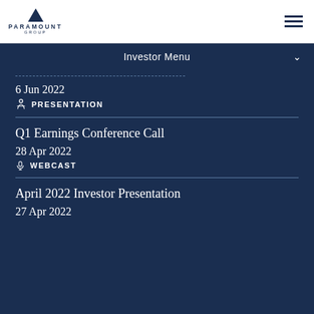[Figure (logo): Paramount Group logo with triangle icon above company name]
Investor Menu
6 Jun 2022
PRESENTATION
Q1 Earnings Conference Call
28 Apr 2022
WEBCAST
April 2022 Investor Presentation
27 Apr 2022